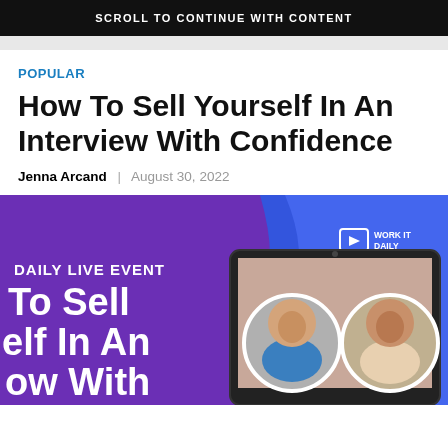SCROLL TO CONTINUE WITH CONTENT
POPULAR
How To Sell Yourself In An Interview With Confidence
Jenna Arcand | August 30, 2022
[Figure (photo): Work It Daily live event promotional banner with purple background showing 'DAILY LIVE EVENT' text, 'How To Sell Yourself In An Interview With' title text, Work It Daily logo, and a tablet device showing two women's circular headshots]